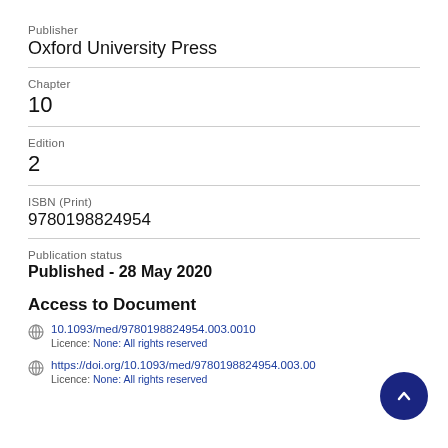Publisher
Oxford University Press
Chapter
10
Edition
2
ISBN (Print)
9780198824954
Publication status
Published - 28 May 2020
Access to Document
10.1093/med/9780198824954.003.0010
Licence: None: All rights reserved
https://doi.org/10.1093/med/9780198824954.003.00...
Licence: None: All rights reserved